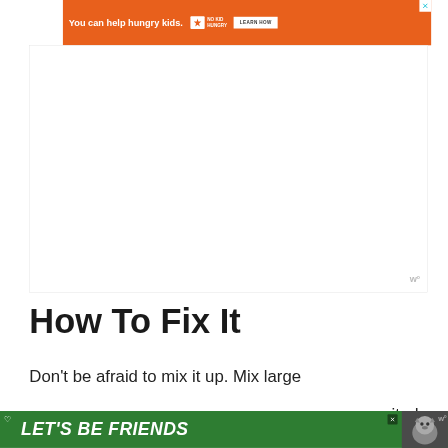[Figure (screenshot): Orange advertisement banner: 'You can help hungry kids.' with No Kid Hungry logo and 'LEARN HOW' button, with close X button.]
[Figure (screenshot): Large white rectangular ad area placeholder, with a small watermark logo 'w°' in the lower right.]
How To Fix It
Don't be afraid to mix it up. Mix large a…ited
[Figure (screenshot): Green 'LET'S BE FRIENDS' banner ad at the bottom with a husky dog image and close button.]